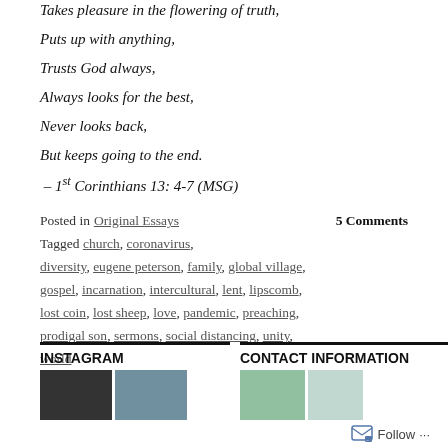Takes pleasure in the flowering of truth,
Puts up with anything,
Trusts God always,
Always looks for the best,
Never looks back,
But keeps going to the end.
– 1st Corinthians 13: 4-7 (MSG)
Posted in Original Essays    5 Comments
Tagged church, coronavirus, diversity, eugene peterson, family, global village, gospel, incarnation, intercultural, lent, lipscomb, lost coin, lost sheep, love, pandemic, preaching, prodigal son, sermons, social distancing, unity, world
INSTAGRAM
CONTACT INFORMATION